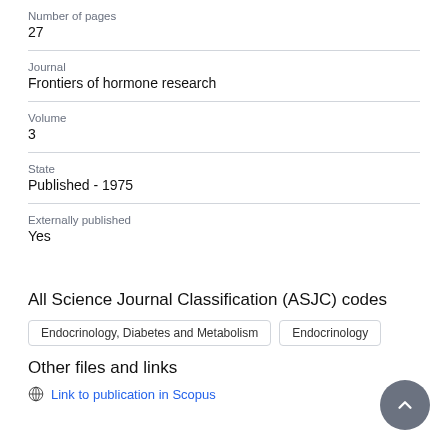Number of pages
27
Journal
Frontiers of hormone research
Volume
3
State
Published - 1975
Externally published
Yes
All Science Journal Classification (ASJC) codes
Endocrinology, Diabetes and Metabolism
Endocrinology
Other files and links
Link to publication in Scopus